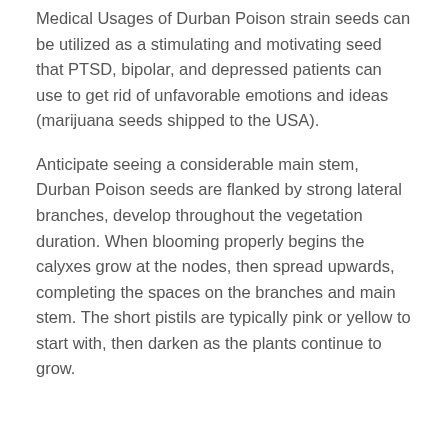Medical Usages of Durban Poison strain seeds can be utilized as a stimulating and motivating seed that PTSD, bipolar, and depressed patients can use to get rid of unfavorable emotions and ideas (marijuana seeds shipped to the USA).
Anticipate seeing a considerable main stem, Durban Poison seeds are flanked by strong lateral branches, develop throughout the vegetation duration. When blooming properly begins the calyxes grow at the nodes, then spread upwards, completing the spaces on the branches and main stem. The short pistils are typically pink or yellow to start with, then darken as the plants continue to grow.